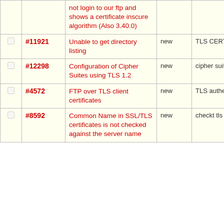|  | ID | Description | Status | Tags |
| --- | --- | --- | --- | --- |
|  |  | not login to our ftp and shows a certificate inscure algorithm (Also 3.40.0) |  |  |
| ☐ | #11921 | Unable to get directory listing | new | TLS CERTIFICATE LIST_FAIL |
| ☐ | #12298 | Configuration of Cipher Suites using TLS 1.2 | new | cipher suites, configuration, TLS |
| ☐ | #4572 | FTP over TLS client certificates | new | TLS authentication |
| ☐ | #8592 | Common Name in SSL/TLS certificates is not checked against the server name | new | checkt tls common |